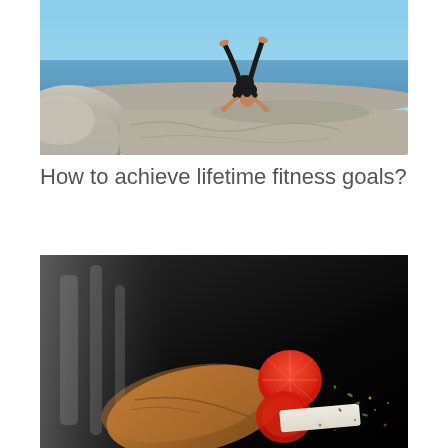[Figure (photo): Woman in black athletic wear doing a yoga arm balance pose on rocky surface near the ocean, with blue sky in background]
How to achieve lifetime fitness goals?
[Figure (photo): Dark dramatic food photography showing bread, sliced tomatoes, cheese and herbs on a dark background]